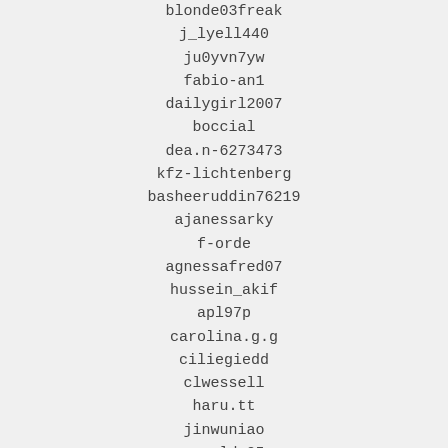blonde03freak
j_lyell440
ju0yvn7yw
fabio-an1
dailygirl2007
boccial
dea.n-6273473
kfz-lichtenberg
basheeruddin76219
ajanessarky
f-orde
agnessafred07
hussein_akif
apl97p
carolina.g.g
ciliegiedd
clwessell
haru.tt
jinwuniao
angeld_05
edwinrhernandez
geantoledo
anunagvaishraj
danxetbek
donan900